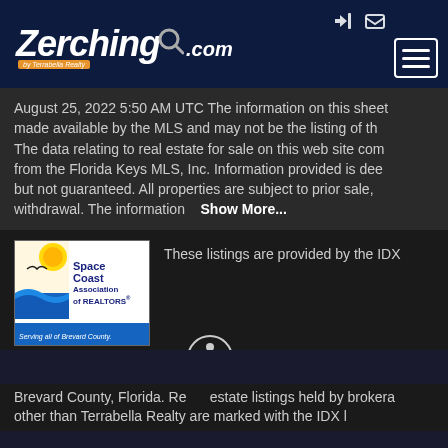[Figure (logo): Zerching.com by Terrabella Realty logo with magnifier icon on dark navy background]
August 25, 2022 5:50 AM UTC The information on this sheet made available by the MLS and may not be the listing of th The data relating to real estate for sale on this web site com from the Florida Keys MLS, Inc. Information provided is dee but not guaranteed. All properties are subject to prior sale, withdrawal. The information   Show More...
[Figure (logo): Space Coast Association of REALTORS logo - Serving all of Brevard County]
These listings are provided by the IDX
Brevard County, Florida. Real estate listings held by brokera other than Terrabella Realty are marked with the IDX l